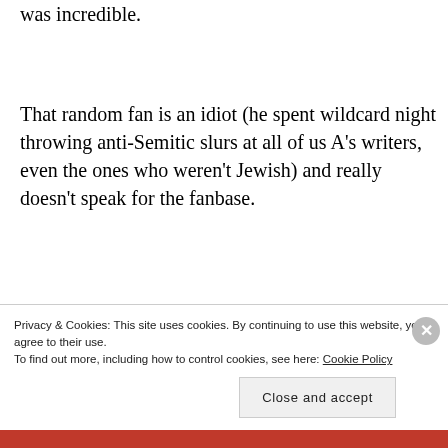was incredible.
That random fan is an idiot (he spent wildcard night throwing anti-Semitic slurs at all of us A’s writers, even the ones who weren’t Jewish) and really doesn’t speak for the fanbase.
I feel bad that you get these tweets and the “free” carwash and all of that crap. 99.9% of us love Doo and
Privacy & Cookies: This site uses cookies. By continuing to use this website, you agree to their use.
To find out more, including how to control cookies, see here: Cookie Policy
Close and accept